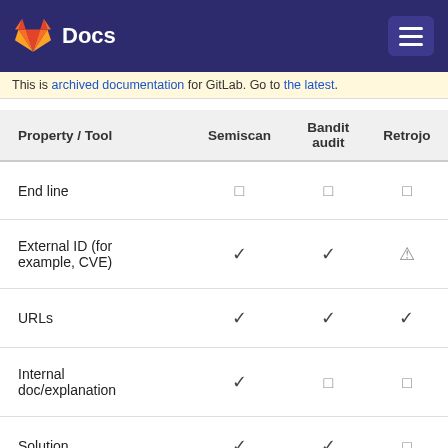Docs
This is archived documentation for GitLab. Go to the latest.
| Property / Tool | Semiscan | Bandit audit | Retrojo |
| --- | --- | --- | --- |
| End line | ☐ | ☐ | ☐ |
| External ID (for example, CVE) | ✓ | ✓ | ⚠ |
| URLs | ✓ | ✓ | ✓ |
| Internal doc/explanation | ✓ | ☐ | ☐ |
| Solution | ✓ | ✓ | ☐ |
| Confidence | ☐ | ☐ | ☐ |